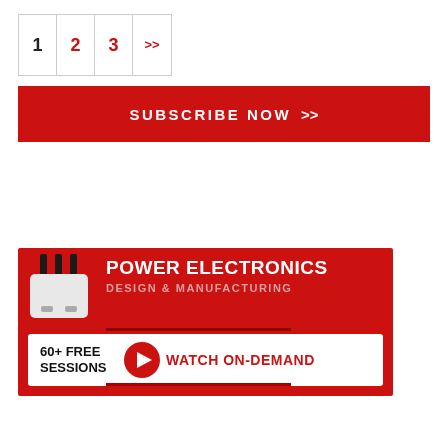[Figure (other): Pagination widget showing page numbers 1, 2 (red), 3 (red), >> (red)]
[Figure (other): Red subscribe now banner with white text SUBSCRIBE NOW and double chevron >>]
[Figure (other): Power Electronics Design & Manufacturing advertisement banner on red background. Shows capacitor icon, title text, and bottom bar with 60+ FREE SESSIONS and WATCH ON-DEMAND button]